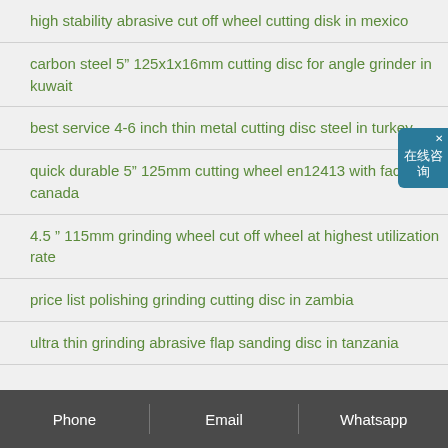high stability abrasive cut off wheel cutting disk in mexico
carbon steel 5" 125x1x16mm cutting disc for angle grinder in kuwait
best service 4-6 inch thin metal cutting disc steel in turkey
quick durable 5" 125mm cutting wheel en12413 with factory in canada
4.5 " 115mm grinding wheel cut off wheel at highest utilization rate
price list polishing grinding cutting disc in zambia
ultra thin grinding abrasive flap sanding disc in tanzania
Phone   Email   Whatsapp